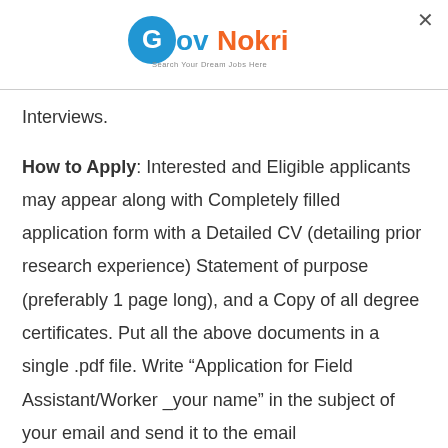GovNokri - Search Your Dream Jobs Here
Interviews.
How to Apply: Interested and Eligible applicants may appear along with Completely filled application form with a Detailed CV (detailing prior research experience) Statement of purpose (preferably 1 page long), and a Copy of all degree certificates. Put all the above documents in a single .pdf file. Write “Application for Field Assistant/Worker _your name” in the subject of your email and send it to the email naveen.james@iitrpr.ac.in, reetkamal@iitrpr.ac.in,